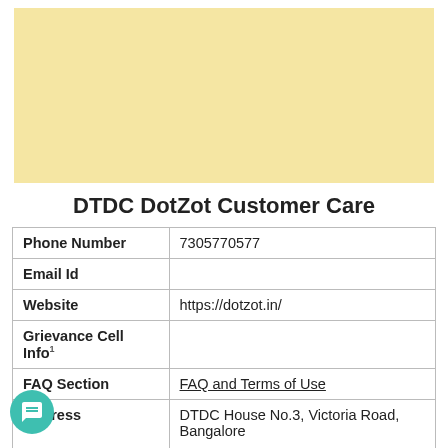[Figure (other): Light yellow/tan advertisement banner placeholder]
DTDC DotZot Customer Care
| Phone Number | 7305770577 |
| Email Id |  |
| Website | https://dotzot.in/ |
| Grievance Cell Info |  |
| FAQ Section | FAQ and Terms of Use |
| Address | DTDC House No.3, Victoria Road, Bangalore 560047, Karnataka |